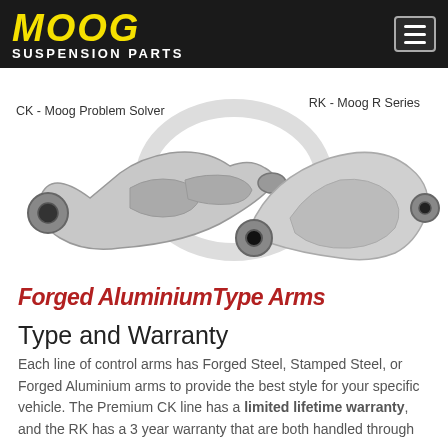MOOG SUSPENSION PARTS
[Figure (photo): Two forged aluminium control arm suspension parts side by side — CK Moog Problem Solver (left) and RK Moog R Series (right) — on a white background with a faint MOOG watermark.]
CK - Moog Problem Solver    RK - Moog R Series
Forged Aluminium Type Arms
Type and Warranty
Each line of control arms has Forged Steel, Stamped Steel, or Forged Aluminium arms to provide the best style for your specific vehicle. The Premium CK line has a limited lifetime warranty, and the RK has a 3 year warranty that are both handled through our awesome